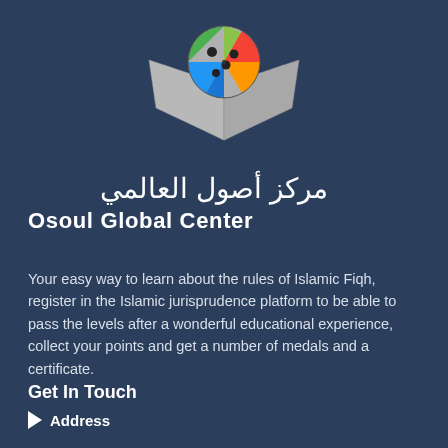[Figure (logo): Osoul Global Center logo: an open book in gray with a colorful globe/ball above it featuring green, orange, red, blue segments with black dots]
مركز أصول العالمي
Osoul Global Center
Your easy way to learn about the rules of Islamic Fiqh, register in the Islamic jurisprudence platform to be able to pass the levels after a wonderful educational experience, collect your points and get a number of medals and a certificate.
Get In Touch
Address